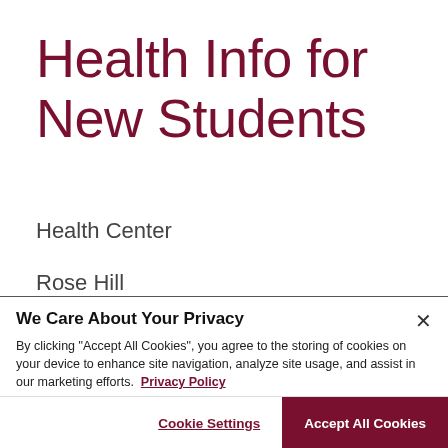Health Info for New Students
Health Center
Rose Hill
We Care About Your Privacy
By clicking "Accept All Cookies", you agree to the storing of cookies on your device to enhance site navigation, analyze site usage, and assist in our marketing efforts. Privacy Policy
Cookie Settings
Accept All Cookies